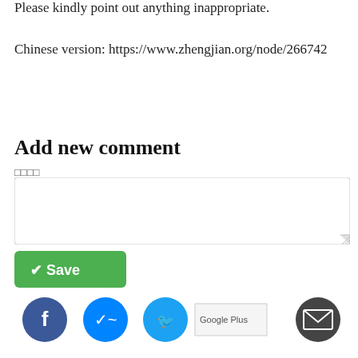Please kindly point out anything inappropriate.
Chinese version: https://www.zhengjian.org/node/266742
Add new comment
□□□□
[Figure (screenshot): Text area input box for comment]
[Figure (screenshot): Green Save button with checkmark icon]
[Figure (screenshot): Social sharing icons: Facebook, Messenger, Twitter, Google Plus (broken image), Email]